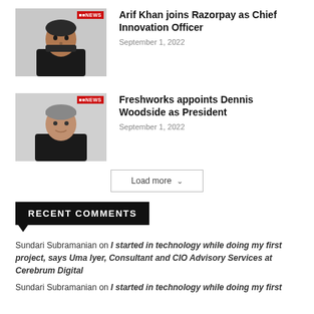[Figure (photo): Photo of Arif Khan with CIO News badge]
Arif Khan joins Razorpay as Chief Innovation Officer
September 1, 2022
[Figure (photo): Photo of Dennis Woodside with CIO News badge]
Freshworks appoints Dennis Woodside as President
September 1, 2022
Load more
RECENT COMMENTS
Sundari Subramanian on I started in technology while doing my first project, says Uma Iyer, Consultant and CIO Advisory Services at Cerebrum Digital
Sundari Subramanian on I started in technology while doing my first